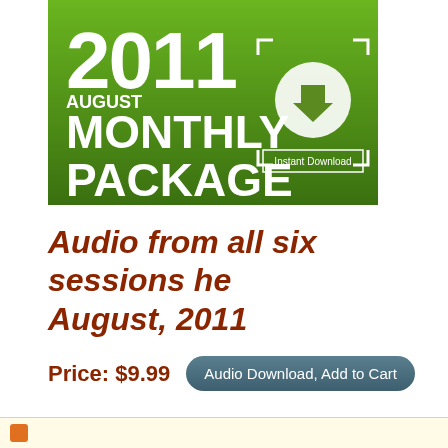[Figure (illustration): 2011 August Monthly Package banner with green gradient background, large white bold text reading '2011 AUGUST MONTHLY PACKAGE', and a white download icon with 'Instant Download' text in a bracket frame]
Audio from all six sessions held in August, 2011
Price: $9.99  Audio Download, Add to Cart
[Figure (infographic): Social sharing buttons row: Facebook (blue), Twitter (light blue), Email (gray), Print (dark teal), Plus/Add (red-orange), and an empty share input box]